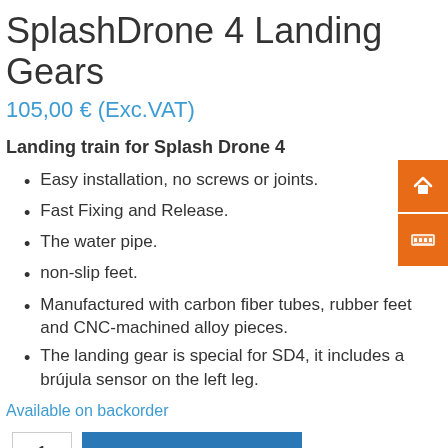SplashDrone 4 Landing Gears
105,00 € (Exc.VAT)
Landing train for Splash Drone 4
Easy installation, no screws or joints.
Fast Fixing and Release.
The water pipe.
non-slip feet.
Manufactured with carbon fiber tubes, rubber feet and CNC-machined alloy pieces.
The landing gear is special for SD4, it includes a brújula sensor on the left leg.
Available on backorder